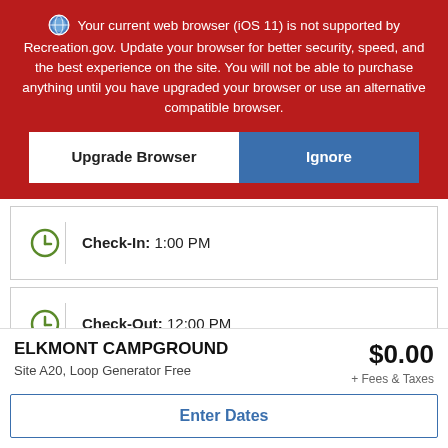Your current web browser (iOS 11) is not supported by Recreation.gov. Update your browser for better security, speed, and the best experience on the site. You will not be able to purchase anything until you have upgraded your browser or use an alternative compatible browser.
Upgrade Browser
Ignore
Check-In: 1:00 PM
Check-Out: 12:00 PM
Max Num of People: 6
ELKMONT CAMPGROUND
$0.00
Site A20, Loop Generator Free
+ Fees & Taxes
Enter Dates